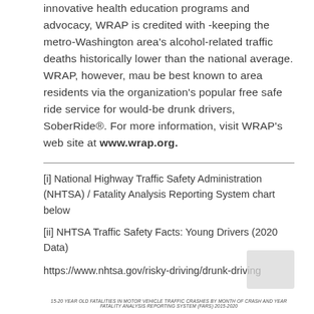innovative health education programs and advocacy, WRAP is credited with -keeping the metro-Washington area's alcohol-related traffic deaths historically lower than the national average. WRAP, however, mau be best known to area residents via the organization's popular free safe ride service for would-be drunk drivers, SoberRide®. For more information, visit WRAP's web site at www.wrap.org.
[i] National Highway Traffic Safety Administration (NHTSA) / Fatality Analysis Reporting System chart below
[ii] NHTSA Traffic Safety Facts: Young Drivers (2020 Data)
https://www.nhtsa.gov/risky-driving/drunk-driving
15-20 YEAR OLD FATALITIES IN MOTOR VEHICLE TRAFFIC CRASHES BY MONTH OF CRASH AND YEAR FATALITY ANALYSIS REPORTING SYSTEM (FARS) 2015-2020